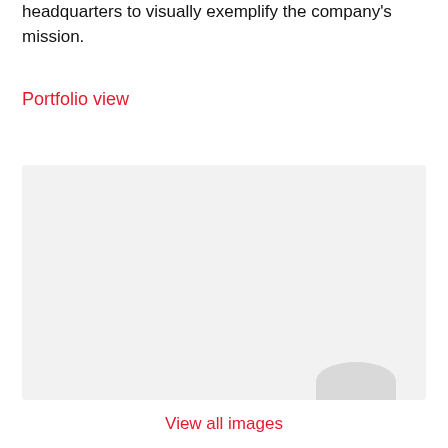headquarters to visually exemplify the company's mission.
Portfolio view
[Figure (photo): Large light gray placeholder image area with a rounded-top gray shape at bottom right corner, representing a portfolio view image]
View all images